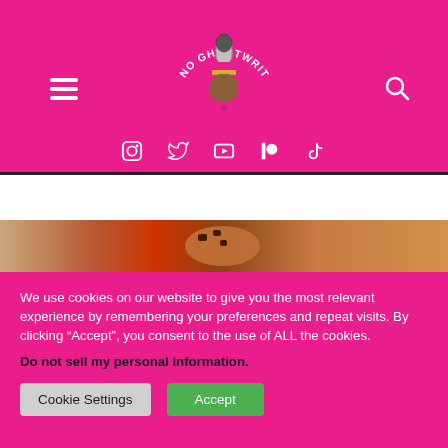[Figure (logo): No Ghostwriter logo — a hand holding a microphone with arching text 'NO GHOSTWRITER' on a hot pink background]
[Figure (infographic): Navigation header with hamburger menu on left, logo centered, search icon on right, hot pink background]
[Figure (photo): Partial image strip showing what appears to be cookies or food items]
We use cookies on our website to give you the most relevant experience by remembering your preferences and repeat visits. By clicking “Accept”, you consent to the use of ALL the cookies.
Do not sell my personal information.
Cookie Settings
Accept